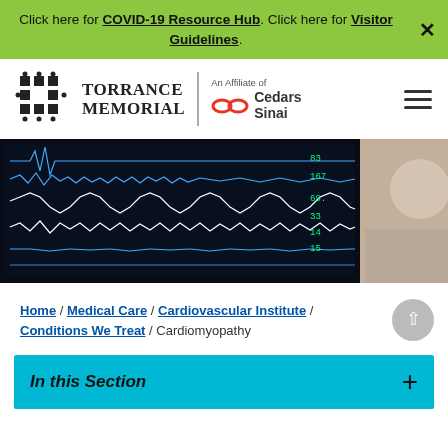Click here for COVID-19 Resource Hub. Click here for Visitor Guidelines.
[Figure (logo): Torrance Memorial hospital logo with cross/people icon, and Cedars-Sinai affiliate logo]
[Figure (photo): Hospital monitoring equipment showing vital signs waveforms on a dark screen, with blurred medical room background]
Home / Medical Care / Cardiovascular Institute / Conditions We Treat / Cardiomyopathy
In this Section